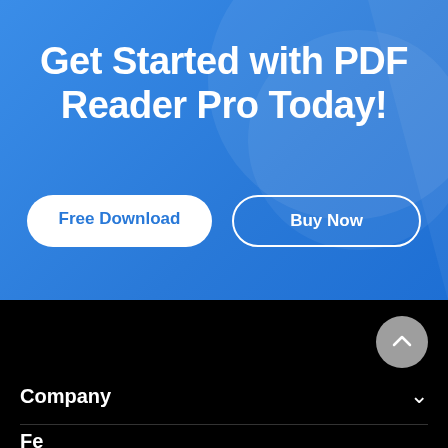Get Started with PDF Reader Pro Today!
Free Download
Buy Now
Company
Features